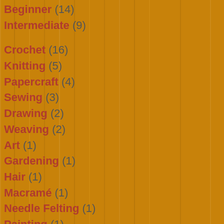Beginner (14)
Intermediate (9)
Crochet (16)
Knitting (5)
Papercraft (4)
Sewing (3)
Drawing (2)
Weaving (2)
Art (1)
Gardening (1)
Hair (1)
Macramé (1)
Needle Felting (1)
Painting (1)
Gift Ideas (12)